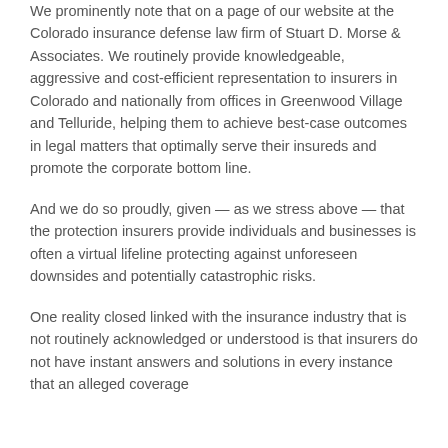We prominently note that on a page of our website at the Colorado insurance defense law firm of Stuart D. Morse & Associates. We routinely provide knowledgeable, aggressive and cost-efficient representation to insurers in Colorado and nationally from offices in Greenwood Village and Telluride, helping them to achieve best-case outcomes in legal matters that optimally serve their insureds and promote the corporate bottom line.
And we do so proudly, given — as we stress above — that the protection insurers provide individuals and businesses is often a virtual lifeline protecting against unforeseen downsides and potentially catastrophic risks.
One reality closed linked with the insurance industry that is not routinely acknowledged or understood is that insurers do not have instant answers and solutions in every instance that an alleged coverage